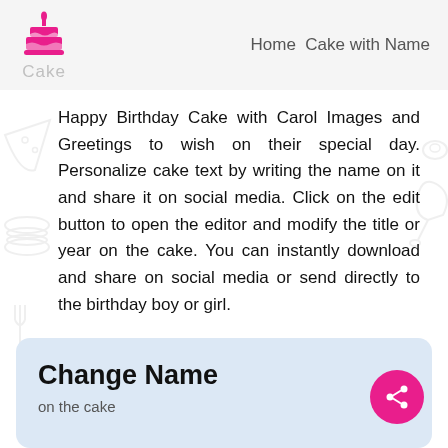Home  Cake with Name
[Figure (logo): Pink birthday cake icon with candle and the word Cake in gray below]
Happy Birthday Cake with Carol Images and Greetings to wish on their special day. Personalize cake text by writing the name on it and share it on social media. Click on the edit button to open the editor and modify the title or year on the cake. You can instantly download and share on social media or send directly to the birthday boy or girl.
Change Name
on the cake